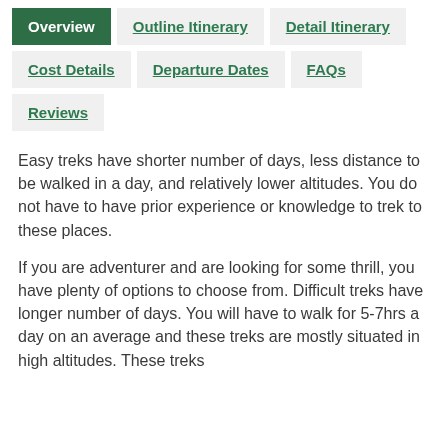Overview
Outline Itinerary
Detail Itinerary
Cost Details
Departure Dates
FAQs
Reviews
Easy treks have shorter number of days, less distance to be walked in a day, and relatively lower altitudes. You do not have to have prior experience or knowledge to trek to these places.
If you are adventurer and are looking for some thrill, you have plenty of options to choose from. Difficult treks have longer number of days. You will have to walk for 5-7hrs a day on an average and these treks are mostly situated in high altitudes. These treks